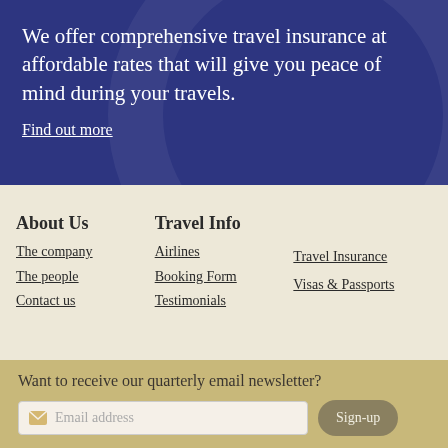We offer comprehensive travel insurance at affordable rates that will give you peace of mind during your travels.
Find out more
About Us
The company
The people
Contact us
Travel Info
Airlines
Booking Form
Testimonials
Travel Insurance
Visas & Passports
Want to receive our quarterly email newsletter?
Email address
Sign-up